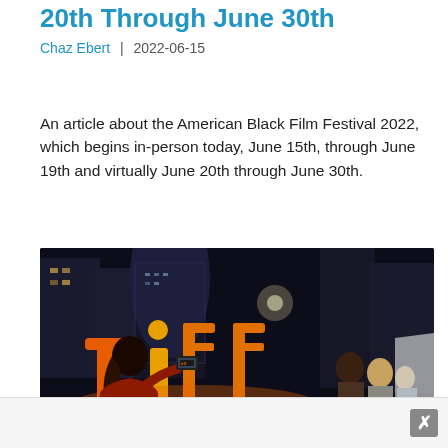20th Through June 30th
Chaz Ebert | 2022-06-15
An article about the American Black Film Festival 2022, which begins in-person today, June 15th, through June 19th and virtually June 20th through June 30th.
[Figure (photo): Nighttime street scene with large illuminated 'tiff' letters in orange/red, with a crowd of people, a person in the foreground taking a photo with a smartphone, city buildings in the background.]